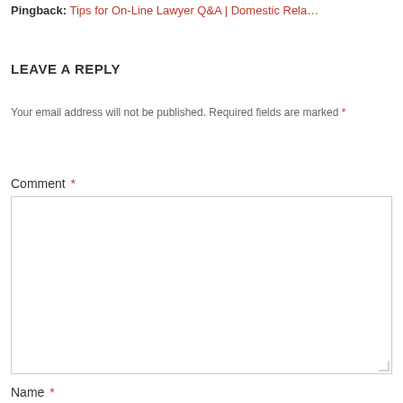Pingback: Tips for On-Line Lawyer Q&A | Domestic Rela…
LEAVE A REPLY
Your email address will not be published. Required fields are marked *
Comment *
Name *